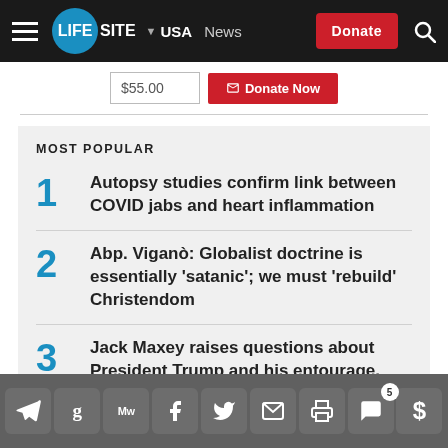LIFESITE — USA News — Donate
1. Autopsy studies confirm link between COVID jabs and heart inflammation
2. Abp. Viganò: Globalist doctrine is essentially 'satanic'; we must 'rebuild' Christendom
3. Jack Maxey raises questions about President Trump and his entourage, deep corruption in federal
Social sharing icons: Telegram, GetTR, MeWe, Facebook, Twitter, Email, Print, Comments (5), Donate